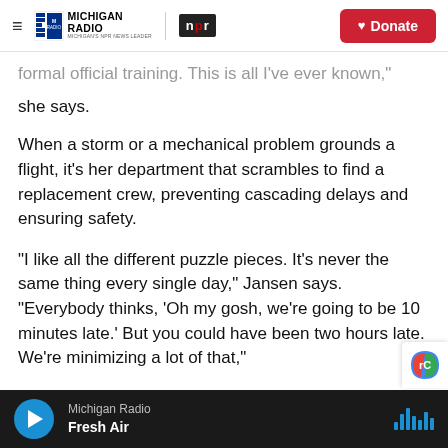Michigan Radio | NPR | Donate
formal official training. This is all I've ever known," she says.
When a storm or a mechanical problem grounds a flight, it's her department that scrambles to find a replacement crew, preventing cascading delays and ensuring safety.
"I like all the different puzzle pieces. It's never the same thing every single day," Jansen says. "Everybody thinks, 'Oh my gosh, we're going to be 10 minutes late.' But you could have been two hours late. We're minimizing a lot of that,"
Michigan Radio | Fresh Air